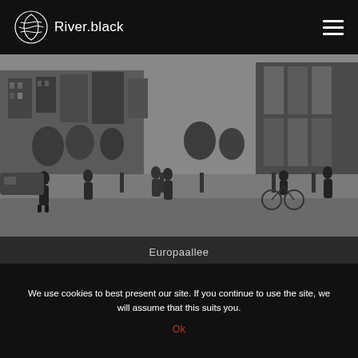River.black
[Figure (photo): Black and white street-level photo of Europaallee showing modern commercial buildings, pedestrians walking, and a cyclist on a wide urban boulevard with bollards and trees.]
Europaallee
[Figure (photo): Black and white photo showing a sky with light clouds and buildings partially visible, partially cropped street scene.]
We use cookies to best present our site. If you continue to use the site, we will assume that this suits you.
Ok